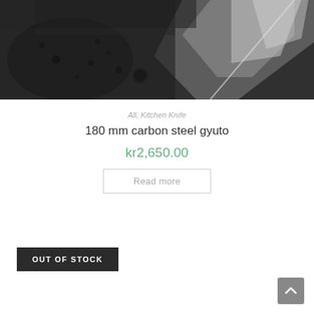[Figure (photo): Close-up photograph of a handmade carbon steel gyuto kitchen knife with a hammered dark blade and textured handle]
All, Kitchen Knife
180 mm carbon steel gyuto
kr2,650.00
Read more
OUT OF STOCK